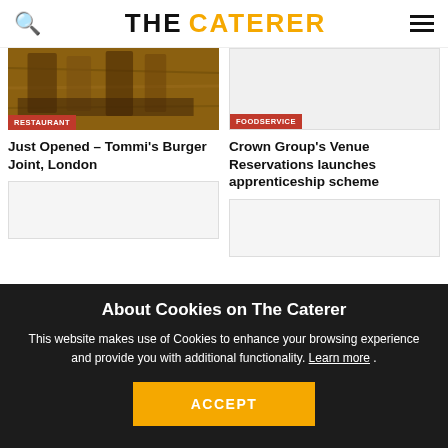THE CATERER
[Figure (photo): Restaurant interior with wooden chairs and tables, warm lighting]
RESTAURANT
[Figure (photo): Foodservice article image placeholder]
FOODSERVICE
Just Opened – Tommi's Burger Joint, London
Crown Group's Venue Reservations launches apprenticeship scheme
[Figure (photo): Article image placeholder bottom left]
[Figure (photo): Article image placeholder bottom right]
About Cookies on The Caterer
This website makes use of Cookies to enhance your browsing experience and provide you with additional functionality. Learn more .
ACCEPT